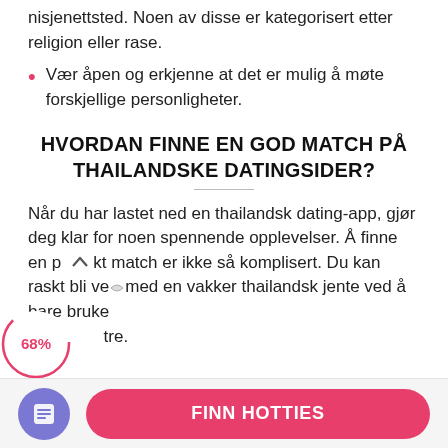nisjenettsted. Noen av disse er kategorisert etter religion eller rase.
Vær åpen og erkjenne at det er mulig å møte forskjellige personligheter.
HVORDAN FINNE EN GOD MATCH PÅ THAILANDSKE DATINGSIDER?
Når du har lastet ned en thailandsk dating-app, gjør deg klar for noen spennende opplevelser. Å finne en p kt match er ikke så komplisert. Du kan raskt bli ve med en vakker thailandsk jente ved å bare bruke  tre.